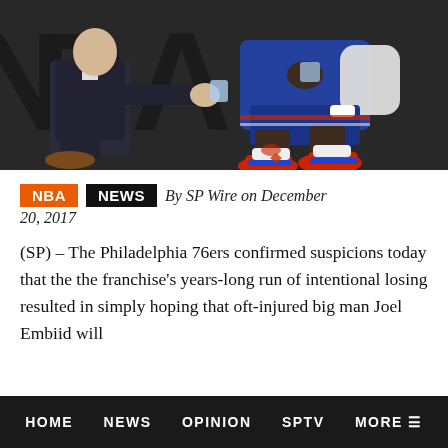[Figure (photo): A Philadelphia 76ers player in blue uniform sitting on the floor with red/blue sneakers, and a man in a dark suit kneeling beside him attending to his injury. NBA backdrop visible.]
NBA  NEWS  By SP Wire on December 20, 2017
(SP) – The Philadelphia 76ers confirmed suspicions today that the the franchise's years-long run of intentional losing resulted in simply hoping that oft-injured big man Joel Embiid will
HOME  NEWS  OPINION  SPTV  MORE